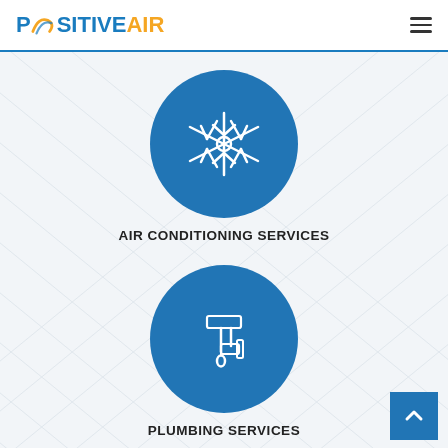POSITIVE AIR
[Figure (illustration): Blue circle icon with white snowflake symbol representing air conditioning services]
AIR CONDITIONING SERVICES
[Figure (illustration): Blue circle icon with white plumbing pipe and water drop symbol representing plumbing services]
PLUMBING SERVICES